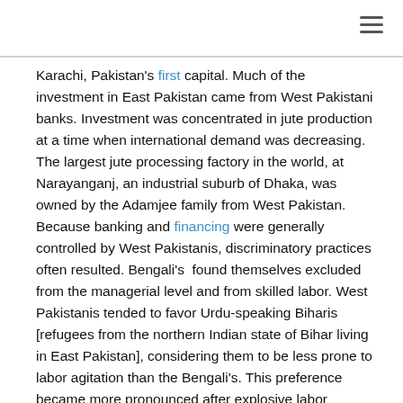Karachi, Pakistan's first capital. Much of the investment in East Pakistan came from West Pakistani banks. Investment was concentrated in jute production at a time when international demand was decreasing. The largest jute processing factory in the world, at Narayanganj, an industrial suburb of Dhaka, was owned by the Adamjee family from West Pakistan. Because banking and financing were generally controlled by West Pakistanis, discriminatory practices often resulted. Bengali's  found themselves excluded from the managerial level and from skilled labor. West Pakistanis tended to favor Urdu-speaking Biharis [refugees from the northern Indian state of Bihar living in East Pakistan], considering them to be less prone to labor agitation than the Bengali's. This preference became more pronounced after explosive labor